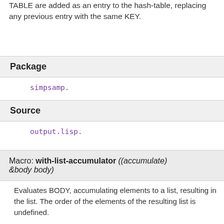TABLE are added as an entry to the hash-table, replacing any previous entry with the same KEY.
Package
simpsamp.
Source
output.lisp.
Macro: with-list-accumulator ((accumulate) &body body)
Evaluates BODY, accumulating elements to a list, resulting in the list. The order of the elements of the resulting list is undefined.
ACCUMULATE is defined with MACROLET. Each time (ACCUMULATE